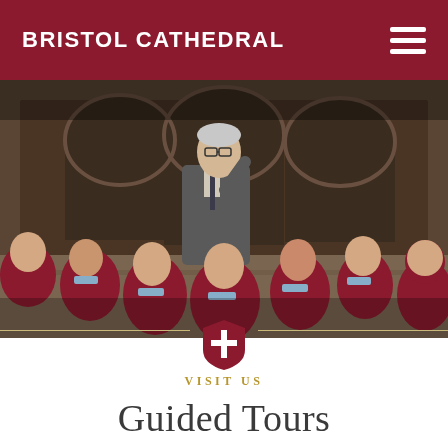BRISTOL CATHEDRAL
[Figure (photo): An elderly male guide in a suit gestures upward while a group of young children in red school uniforms look up in awe, inside Bristol Cathedral's historic stone cloisters.]
VISIT US
Guided Tours